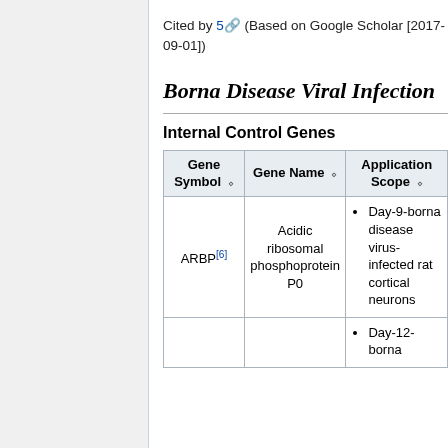Cited by 5 (Based on Google Scholar [2017-09-01])
Borna Disease Viral Infection
Internal Control Genes
| Gene Symbol | Gene Name | Application Scope |
| --- | --- | --- |
| ARBP[6] | Acidic ribosomal phosphoprotein P0 | • Day-9-borna disease virus-infected rat cortical neurons |
|  |  | • Day-12-borna |
Top ↑